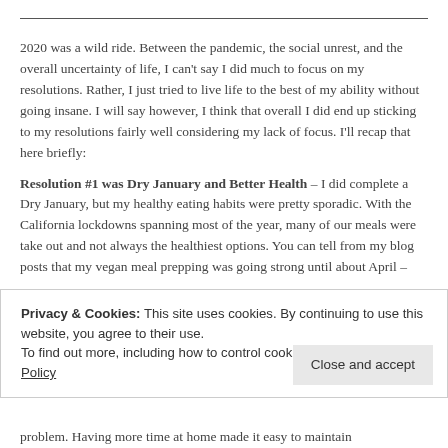2020 was a wild ride. Between the pandemic, the social unrest, and the overall uncertainty of life, I can't say I did much to focus on my resolutions. Rather, I just tried to live life to the best of my ability without going insane. I will say however, I think that overall I did end up sticking to my resolutions fairly well considering my lack of focus. I'll recap that here briefly:
Resolution #1 was Dry January and Better Health – I did complete a Dry January, but my healthy eating habits were pretty sporadic. With the California lockdowns spanning most of the year, many of our meals were take out and not always the healthiest options. You can tell from my blog posts that my vegan meal prepping was going strong until about April –
Privacy & Cookies: This site uses cookies. By continuing to use this website, you agree to their use. To find out more, including how to control cookies, see here: Cookie Policy
problem. Having more time at home made it easy to maintain